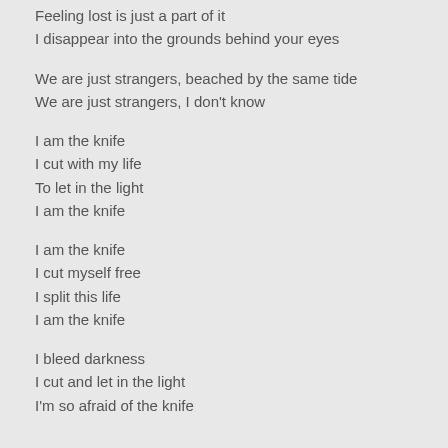Feeling lost is just a part of it
I disappear into the grounds behind your eyes
We are just strangers, beached by the same tide
We are just strangers, I don't know
I am the knife
I cut with my life
To let in the light
I am the knife
I am the knife
I cut myself free
I split this life
I am the knife
I bleed darkness
I cut and let in the light
I'm so afraid of the knife